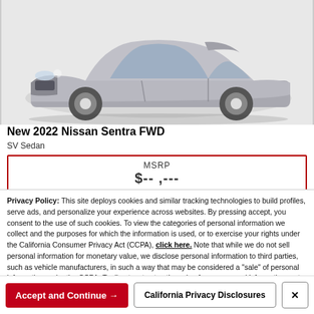[Figure (photo): Front three-quarter view of a silver 2022 Nissan Sentra FWD sedan against a white background]
New 2022 Nissan Sentra FWD
SV Sedan
MSRP
Privacy Policy: This site deploys cookies and similar tracking technologies to build profiles, serve ads, and personalize your experience across websites. By pressing accept, you consent to the use of such cookies. To view the categories of personal information we collect and the purposes for which the information is used, or to exercise your rights under the California Consumer Privacy Act (CCPA), click here. Note that while we do not sell personal information for monetary value, we disclose personal information to third parties, such as vehicle manufacturers, in such a way that may be considered a "sale" of personal information under the CCPA. To direct us to stop the sale of your personal information, or to re-access these settings or disclosures at anytime, click the following icon or link:
Do Not Sell My Personal Information
Language: English
Powered by ComplyAuto
Accept and Continue →
California Privacy Disclosures
×